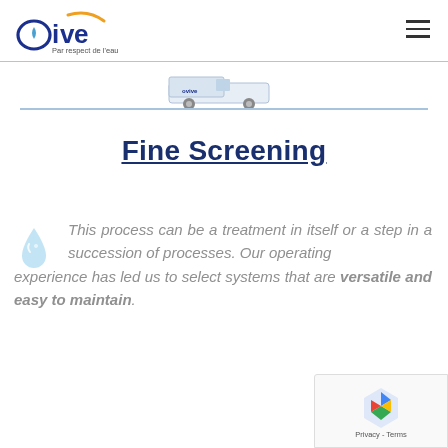Ovive — Par respect de l'eau
[Figure (photo): White service van with Ovive branding, partially visible above a horizontal blue divider line]
Fine Screening
This process can be a treatment in itself or a step in a succession of processes. Our operating experience has led us to select systems that are versatile and easy to maintain.